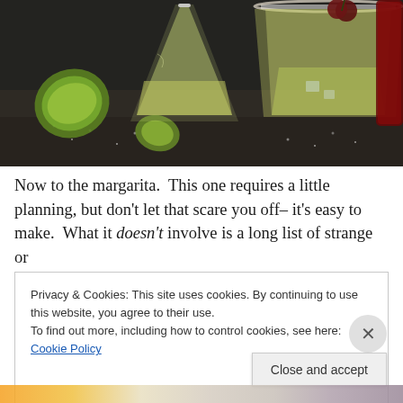[Figure (photo): Two cocktail glasses (margaritas) with lime wedges and cherries on a dark surface with salt scattered around]
Now to the margarita.  This one requires a little planning, but don't let that scare you off– it's easy to make.  What it doesn't involve is a long list of strange or
Privacy & Cookies: This site uses cookies. By continuing to use this website, you agree to their use.
To find out more, including how to control cookies, see here: Cookie Policy
Close and accept